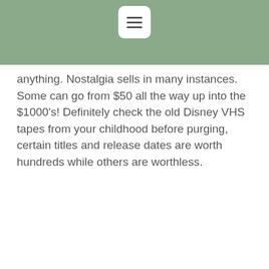[Figure (other): Green header bar with a white rounded square menu button (hamburger icon) centered at top]
anything. Nostalgia sells in many instances. Some can go from $50 all the way up into the $1000's! Definitely check the old Disney VHS tapes from your childhood before purging, certain titles and release dates are worth hundreds while others are worthless.